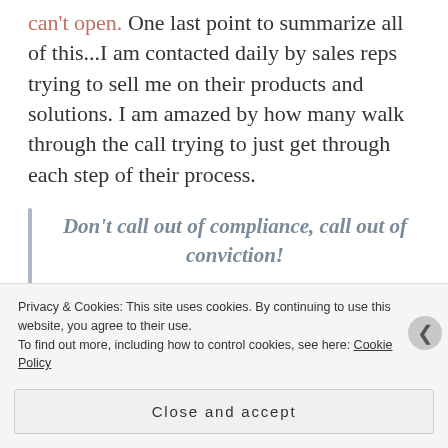can't open. One last point to summarize all of this...I am contacted daily by sales reps trying to sell me on their products and solutions. I am amazed by how many walk through the call trying to just get through each step of their process.
Don't call out of compliance, call out of conviction!
I don't want to be a check box call on a list of prospects that need to be called. Your prospects don't want that, nor do you. Let's make sure we are
Privacy & Cookies: This site uses cookies. By continuing to use this website, you agree to their use.
To find out more, including how to control cookies, see here: Cookie Policy
Close and accept